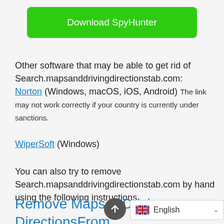[Figure (other): Green download button labeled 'Download SpyHunter']
Other software that may be able to get rid of Search.mapsanddrivingdirectionstab.com:
Norton (Windows, macOS, iOS, Android) The link may not work correctly if your country is currently under sanctions.
WiperSoft (Windows)
You can also try to remove Search.mapsanddrivingdirectionstab.com by hand using the following instructions.
Remove Maps & Driving DirectionsFrom Programs and Features